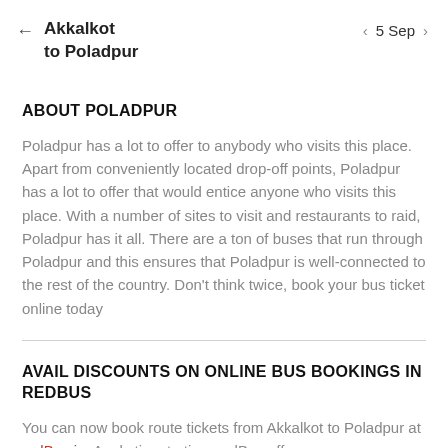← Akkalkot to Poladpur    ‹ 5 Sep ›
ABOUT POLADPUR
Poladpur has a lot to offer to anybody who visits this place. Apart from conveniently located drop-off points, Poladpur has a lot to offer that would entice anyone who visits this place. With a number of sites to visit and restaurants to raid, Poladpur has it all. There are a ton of buses that run through Poladpur and this ensures that Poladpur is well-connected to the rest of the country. Don't think twice, book your bus ticket online today
AVAIL DISCOUNTS ON ONLINE BUS BOOKINGS IN REDBUS
You can now book route tickets from Akkalkot to Poladpur at redBus.in. Apply time to time redBus offers